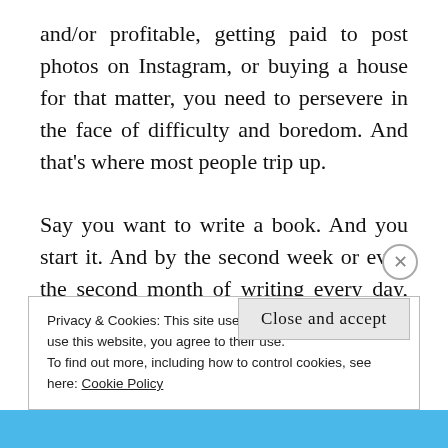and/or profitable, getting paid to post photos on Instagram, or buying a house for that matter, you need to persevere in the face of difficulty and boredom. And that's where most people trip up.

Say you want to write a book. And you start it. And by the second week or even the second month of writing every day, you hit a wall. You're uninspired. You're tired. You stop. But the book won't write itself. You need to keep on going. If
Privacy & Cookies: This site uses cookies. By continuing to use this website, you agree to their use.
To find out more, including how to control cookies, see here: Cookie Policy